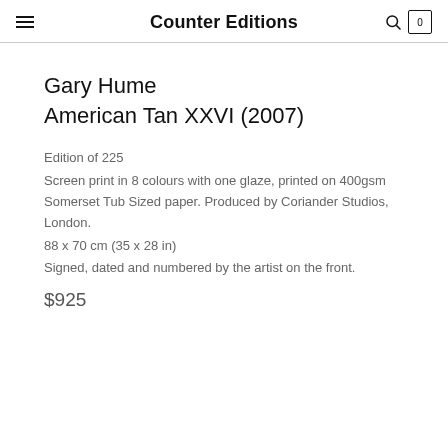Counter Editions
Gary Hume
American Tan XXVI (2007)
Edition of 225
Screen print in 8 colours with one glaze, printed on 400gsm Somerset Tub Sized paper. Produced by Coriander Studios, London.
88 x 70 cm (35 x 28 in)
Signed, dated and numbered by the artist on the front.
$925